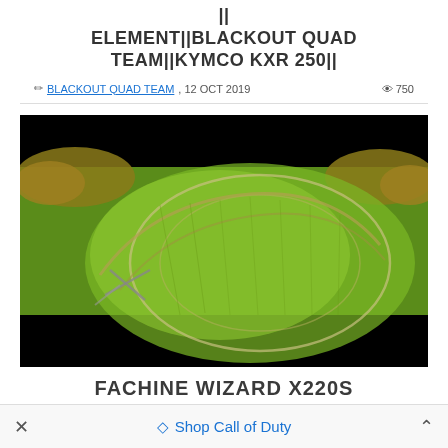ELEMENT||BLACKOUT QUAD TEAM||KYMCO KXR 250||
BLACKOUT QUAD TEAM, 12 OCT 2019  👁 750
[Figure (photo): Aerial drone photograph looking down at a green grass field with curved trail/track patterns visible, trees with autumn foliage in the upper corners, black letterbox bars at top and bottom of the video frame.]
FACHINE WIZARD X220S
× Shop Call of Duty ^